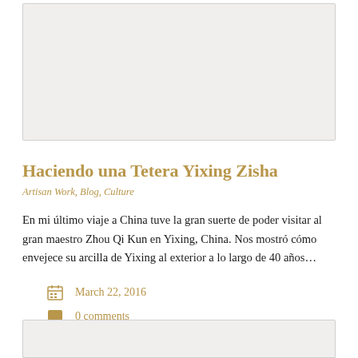[Figure (photo): Top image card area with light gray background, partially visible]
Haciendo una Tetera Yixing Zisha
Artisan Work, Blog, Culture
En mi último viaje a China tuve la gran suerte de poder visitar al gran maestro Zhou Qi Kun en Yixing, China. Nos mostró cómo envejece su arcilla de Yixing al exterior a lo largo de 40 años…
March 22, 2016
0 comments
[Figure (photo): Bottom image card area with light gray background, partially visible]